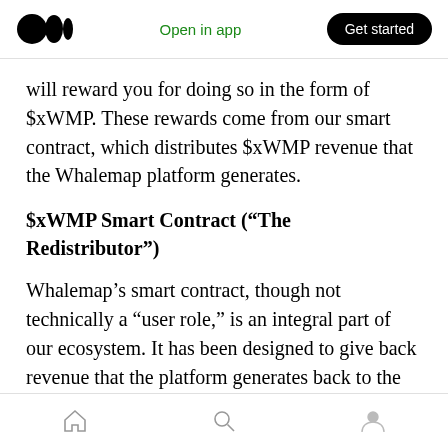Open in app  Get started
will reward you for doing so in the form of $xWMP. These rewards come from our smart contract, which distributes $xWMP revenue that the Whalemap platform generates.
$xWMP Smart Contract (“The Redistributor”)
Whalemap’s smart contract, though not technically a “user role,” is an integral part of our ecosystem. It has been designed to give back revenue that the platform generates back to the community in the form of $xWMP. $xWMP holders will receive a portion of this redistributed